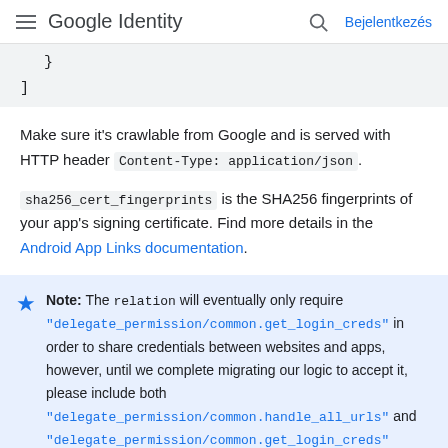Google Identity  Bejelentkezés
}
]
Make sure it's crawlable from Google and is served with HTTP header Content-Type: application/json.
sha256_cert_fingerprints is the SHA256 fingerprints of your app's signing certificate. Find more details in the Android App Links documentation.
Note: The relation will eventually only require "delegate_permission/common.get_login_creds" in order to share credentials between websites and apps, however, until we complete migrating our logic to accept it, please include both "delegate_permission/common.handle_all_urls" and "delegate_permission/common.get_login_creds"